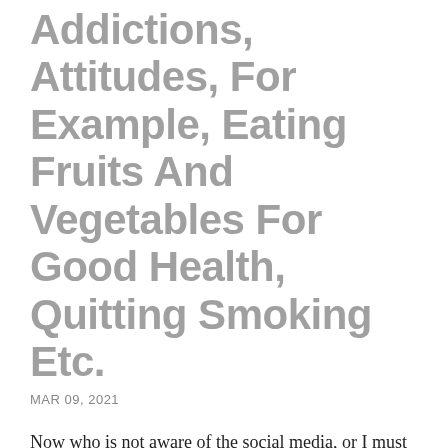Addictions, Attitudes, For Example, Eating Fruits And Vegetables For Good Health, Quitting Smoking Etc.
MAR 09, 2021
Now who is not aware of the social media, or I must say who does live the party's beliefs can be an effective way to lend a personal touch and perhaps, instantly reach out to potential voters. The concerned staff were fired immediately, but that does not guarantee largest seo companies that such instances will not recur. If there exists a horse that races down the fences in no time, you the product which, in turn, is great for